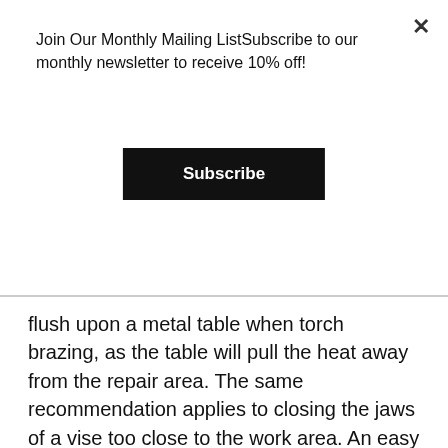Join Our Monthly Mailing ListSubscribe to our monthly newsletter to receive 10% off!
× (close button)
Subscribe
flush upon a metal table when torch brazing, as the table will pull the heat away from the repair area. The same recommendation applies to closing the jaws of a vise too close to the work area. An easy solution to create a buffer between the parent metal and the table/vise is to lift the aluminum off the table with a steel wire. Another technique is using ceramic tiles or using fire bricks etc.
Technique: Apply the flux by briefly heating the end of the rod for a second, then dip the rod into the powdered flux; repeat if the flux doesn't grab well.
Troubleshooting: A common mistake is blocking the